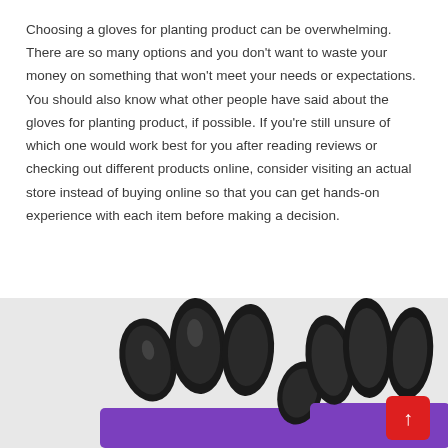Choosing a gloves for planting product can be overwhelming. There are so many options and you don't want to waste your money on something that won't meet your needs or expectations. You should also know what other people have said about the gloves for planting product, if possible. If you're still unsure of which one would work best for you after reading reviews or checking out different products online, consider visiting an actual store instead of buying online so that you can get hands-on experience with each item before making a decision.
[Figure (photo): Close-up photo of gardening gloves with black claw/fingertip covers and purple cuffs, showing multiple glove fingertips from two gloves.]